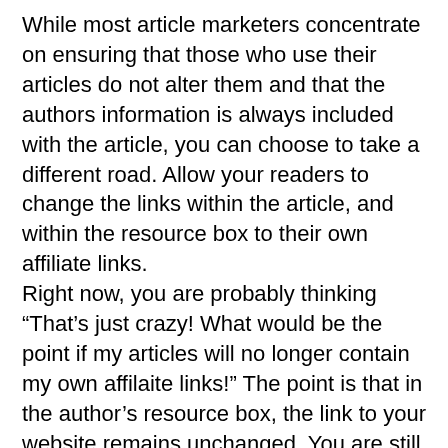While most article marketers concentrate on ensuring that those who use their articles do not alter them and that the authors information is always included with the article, you can choose to take a different road. Allow your readers to change the links within the article, and within the resource box to their own affiliate links.
Right now, you are probably thinking “That’s just crazy! What would be the point if my articles will no longer contain my own affilaite links!” The point is that in the author’s resource box, the link to your website remains unchanged. You are still the author of the article, and you still get the recognition.
As you can see, you still benefit by getting the recognition and the traffic to your site, but you benefit even more because now ezine publishers and website owners are more compelled to use your articles, simply because they benefit from them as well.